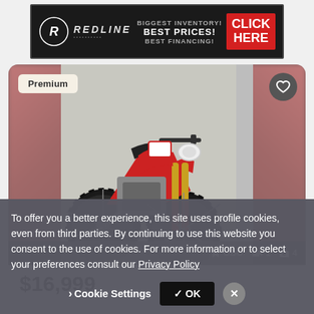[Figure (other): Redline dealer advertisement banner: BIGGEST INVENTORY! BEST PRICES! BEST FINANCING! CLICK HERE]
[Figure (photo): Red Honda CRF dirt bike / motocross motorcycle front view, with blurred pink-red sides]
Premium
OBO  1  4
$16,999
To offer you a better experience, this site uses profile cookies, even from third parties. By continuing to use this website you consent to the use of cookies. For more information or to select your preferences consult our Privacy Policy
> Cookie Settings  ✓ OK  ×